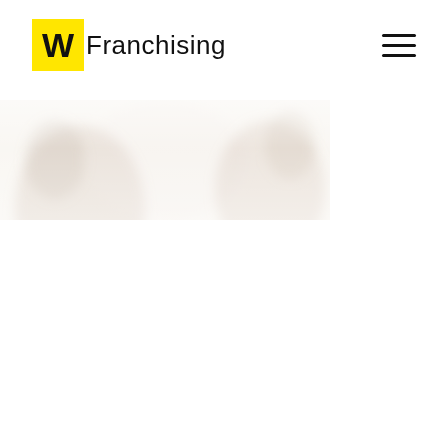W Franchising
[Figure (photo): Faded/washed-out photo of people (appears to show people with hands raised), displayed as a wide banner strip across the upper portion of the page, heavily overexposed/faded to near-white]